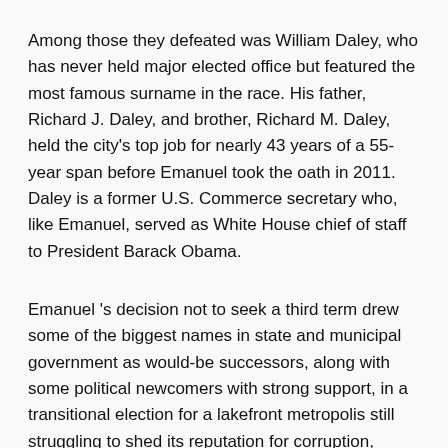Among those they defeated was William Daley, who has never held major elected office but featured the most famous surname in the race. His father, Richard J. Daley, and brother, Richard M. Daley, held the city's top job for nearly 43 years of a 55-year span before Emanuel took the oath in 2011. Daley is a former U.S. Commerce secretary who, like Emanuel, served as White House chief of staff to President Barack Obama.
Emanuel 's decision not to seek a third term drew some of the biggest names in state and municipal government as would-be successors, along with some political newcomers with strong support, in a transitional election for a lakefront metropolis still struggling to shed its reputation for corruption, police brutality and street violence.
"What do you think of us now?" Lightfoot said Tuesday night to a crowd of her supporters. "This is what change looks like."